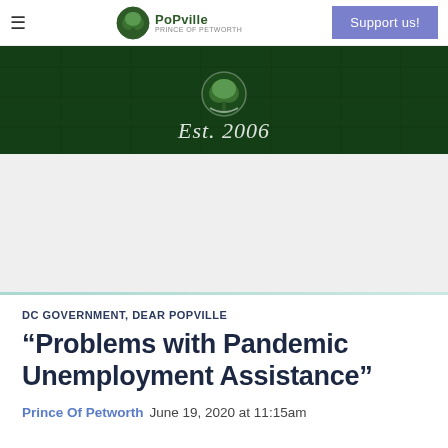PopVille – Prince of Petworth | Support us!
[Figure (photo): Dark green hero banner with 'Est. 2006' in italic text and a circular logo at the top center, overlaid on a building background image]
DC GOVERNMENT, DEAR POPVILLE
“Problems with Pandemic Unemployment Assistance”
Prince Of Petworth   June 19, 2020 at 11:15am